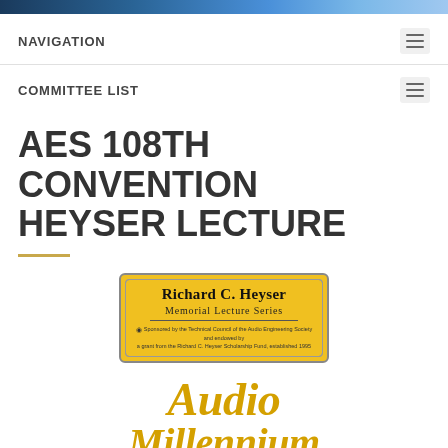NAVIGATION
COMMITTEE LIST
AES 108TH CONVENTION HEYSER LECTURE
[Figure (logo): Richard C. Heyser Memorial Lecture Series badge/logo with yellow background, featuring the text 'Richard C. Heyser Memorial Lecture Series' with a sponsor note about the Technical Council of the Audio Engineering Society]
[Figure (illustration): Stylized italic text reading 'Audio Millennium' in golden/yellow color]